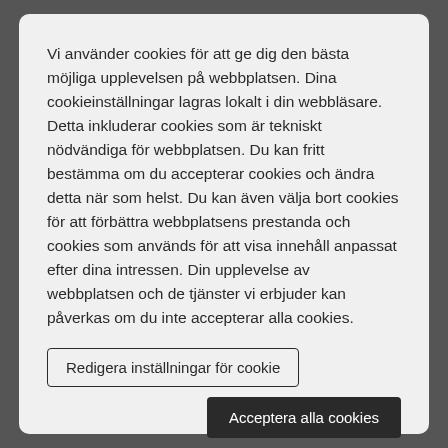Vi använder cookies för att ge dig den bästa möjliga upplevelsen på webbplatsen. Dina cookieinställningar lagras lokalt i din webbläsare. Detta inkluderar cookies som är tekniskt nödvändiga för webbplatsen. Du kan fritt bestämma om du accepterar cookies och ändra detta när som helst. Du kan även välja bort cookies för att förbättra webbplatsens prestanda och cookies som används för att visa innehåll anpassat efter dina intressen. Din upplevelse av webbplatsen och de tjänster vi erbjuder kan påverkas om du inte accepterar alla cookies.
Redigera inställningar för cookie
Acceptera alla cookies